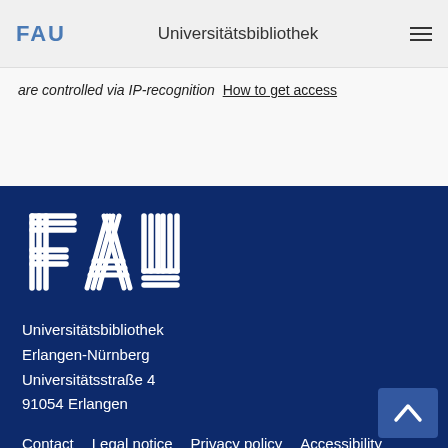FAU  Universitätsbibliothek
are controlled via IP-recognition How to get access
[Figure (logo): FAU large white logo on dark blue footer background]
Universitätsbibliothek
Erlangen-Nürnberg
Universitätsstraße 4
91054 Erlangen
Contact   Legal notice   Privacy policy   Accessibility
[Figure (illustration): Social media icons: Facebook, RSS, Twitter, YouTube]